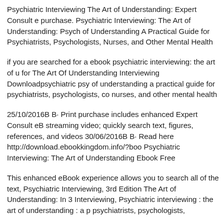Psychiatric Interviewing The Art of Understanding: Expert Consult e purchase. Psychiatric Interviewing: The Art of Understanding: Psych of Understanding A Practical Guide for Psychiatrists, Psychologists, Nurses, and Other Mental Health
if you are searched for a ebook psychiatric interviewing: the art of u for The Art Of Understanding Interviewing Downloadpsychiatric psy of understanding a practical guide for psychiatrists, psychologists, co nurses, and other mental health
25/10/2016B B· Print purchase includes enhanced Expert Consult eB streaming video; quickly search text, figures, references, and videos 30/06/2016B B· Read here http://download.ebookkingdom.info/?boo Psychiatric Interviewing: The Art of Understanding Ebook Free
This enhanced eBook experience allows you to search all of the text, Psychiatric Interviewing, 3rd Edition The Art of Understanding: In 3 Interviewing, Psychiatric interviewing : the art of understanding : a p psychiatrists, psychologists,